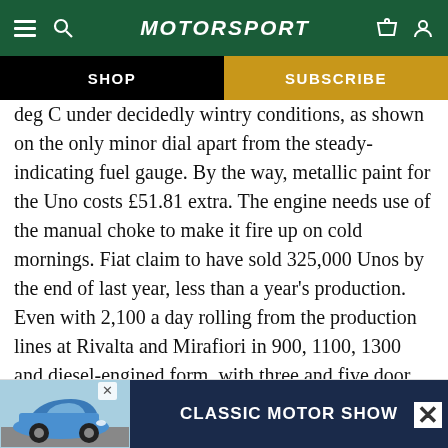Motor Sport
SHOP
SUBSCRIBE
deg C under decidedly wintry conditions, as shown on the only minor dial apart from the steady-indicating fuel gauge. By the way, metallic paint for the Uno costs £51.81 extra. The engine needs use of the manual choke to make it fire up on cold mornings. Fiat claim to have sold 325,000 Unos by the end of last year, less than a year's production. Even with 2,100 a day rolling from the production lines at Rivalta and Mirafiori in 900, 1100, 1300 and diesel-engined form, with three and five door bodies, I find it hard, as I have said, to understand when a profi…
[Figure (screenshot): Advertisement banner at the bottom showing a classic Porsche 911 car and text 'CLASSIC MOTOR SHOW']